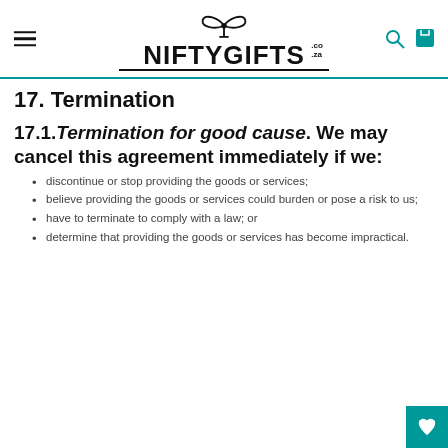NIFTYGIFTS.co.za
17. Termination
17.1.Termination for good cause. We may cancel this agreement immediately if we:
discontinue or stop providing the goods or services;
believe providing the goods or services could burden or pose a risk to us;
have to terminate to comply with a law; or
determine that providing the goods or services has become impractical.